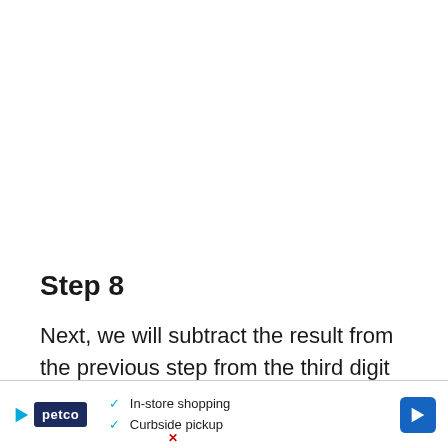Step 8
Next, we will subtract the result from the previous step from the third digit of the dividend (39 - 0 = 39) and write that ansv
[Figure (other): Petco advertisement banner with play button, Petco logo, checkmarks for In-store shopping and Curbside pickup, and a blue navigation arrow icon]